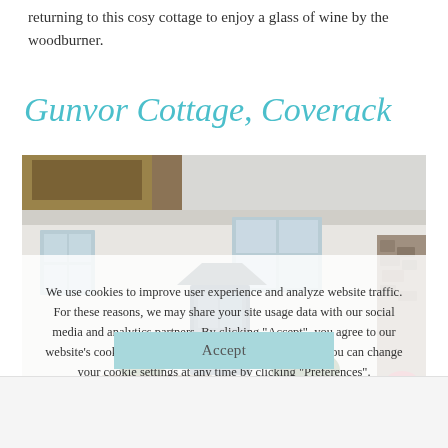returning to this cosy cottage to enjoy a glass of wine by the woodburner.
Gunvor Cottage, Coverack
[Figure (photo): Exterior photo of Gunvor Cottage in Coverack — a white-painted thatched cottage with stone features, outdoor seating, and flower pots, overlaid with a semi-transparent cookie consent dialog.]
We use cookies to improve user experience and analyze website traffic. For these reasons, we may share your site usage data with our social media and analytics partners. By clicking "Accept", you agree to our website's cookie use as described in our Cookie Policy. You can change your cookie settings at any time by clicking "Preferences".
Accept